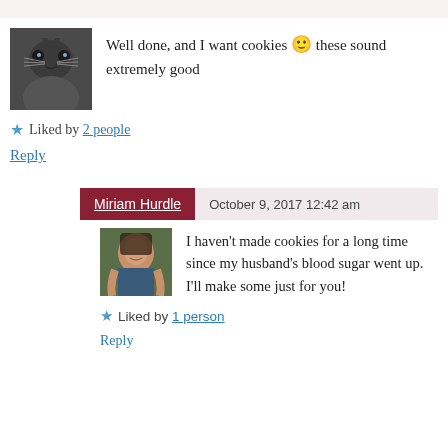[Figure (photo): Close-up photo of a gray cat face]
Well done, and I want cookies 🙂 these sound extremely good
★ Liked by 2 people
Reply
Miriam Hurdle   October 9, 2017 12:42 am
[Figure (photo): Photo of a woman with dark hair, smiling, outdoors]
I haven't made cookies for a long time since my husband's blood sugar went up. I'll make some just for you!
★ Liked by 1 person
Reply